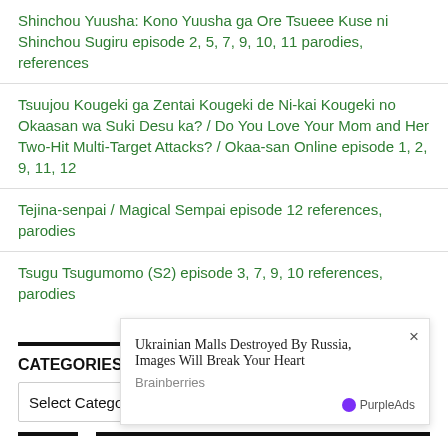Shinchou Yuusha: Kono Yuusha ga Ore Tsueee Kuse ni Shinchou Sugiru episode 2, 5, 7, 9, 10, 11 parodies, references
Tsuujou Kougeki ga Zentai Kougeki de Ni-kai Kougeki no Okaasan wa Suki Desu ka? / Do You Love Your Mom and Her Two-Hit Multi-Target Attacks? / Okaa-san Online episode 1, 2, 9, 11, 12
Tejina-senpai / Magical Sempai episode 12 references, parodies
Tsugu Tsugumomo (S2) episode 3, 7, 9, 10 references, parodies
CATEGORIES
Select Category
TAGS
2001: A Space Odyssey Amazon Aniplex Apple Inc. Apple iPhone Ashita no Joe
[Figure (infographic): Ad overlay popup: Ukrainian Malls Destroyed By Russia, Images Will Break Your Heart — Brainberries — PurpleAds]